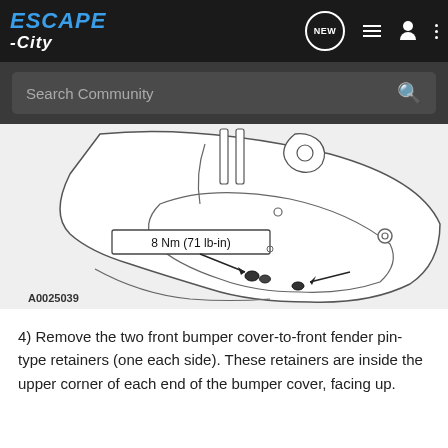ESCAPE-City | Search Community
[Figure (engineering-diagram): Technical line drawing of front bumper cover area showing two bolt/retainer locations with annotation '8 Nm (71 lb-in)' torque specification and arrows pointing to fastener locations. Figure reference A0025039.]
A0025039
4) Remove the two front bumper cover-to-front fender pin-type retainers (one each side). These retainers are inside the upper corner of each end of the bumper cover, facing up.